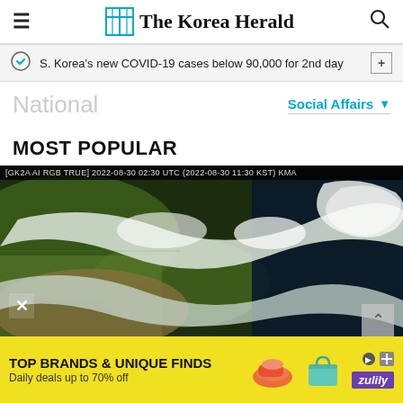The Korea Herald
S. Korea's new COVID-19 cases below 90,000 for 2nd day
National
Social Affairs
MOST POPULAR
[Figure (photo): Satellite image labeled [GK2A AI RGB TRUE] 2022-08-30 02:30 UTC (2022-08-30 11:30 KST) KMA, showing cloud formations over East Asia]
TOP BRANDS & UNIQUE FINDS
Daily deals up to 70% off